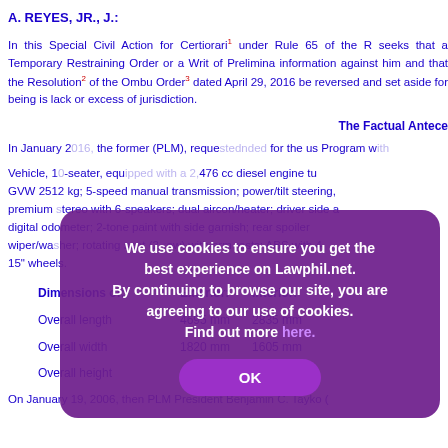A. REYES, JR., J.:
In this Special Civil Action for Certiorari¹ under Rule 65 of the Rules, seeks that a Temporary Restraining Order or a Writ of Preliminary information against him and that the Resolution² of the Ombu Order³ dated April 29, 2016 be reversed and set aside for being is lack or excess of jurisdiction.
The Factual Antece
In January 2 the former (PLM), requeste nded for the us Program w
Vehicle, 10-seater, equ 476 cc diesel engine tu GVW 2512 kg; 5-speed manual transmission; power/tilt steering, premium stereo with 6-speakers; dual aircon/heater; driver side a digital odometer; 2-tone paint with side garnish; rear spoiler wiper/washer; rotating seat (2-row) with arm rests; ABS with 4 15" wheels.
| Dimensions of: | Exterior: | Interior: |
| --- | --- | --- |
| Overall length | 4695 mm | 2835 mm |
| Overall width | 1820 mm | 1605 mm |
| Overall height | 1685 mm | 1240 mm⁴ |
On January 19, 2006, then PLM President Benjamin C. Tayko (